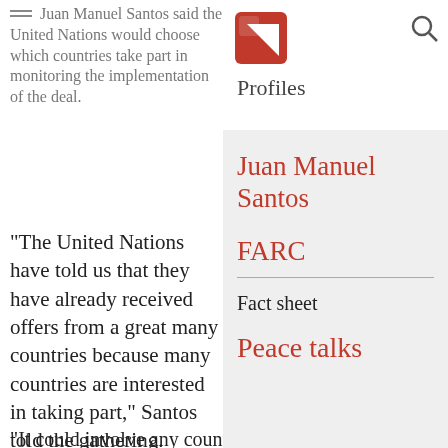Juan Manuel Santos said the United Nations would choose which countries take part in monitoring the implementation of the deal.
“The United Nations have told us that they have already received offers from a great many countries because many countries are interested in taking part,” Santos told the gathering.
Profiles
Juan Manuel Santos
FARC
Fact sheet
Peace talks
“It could involve any country that belongs to CELAC.”